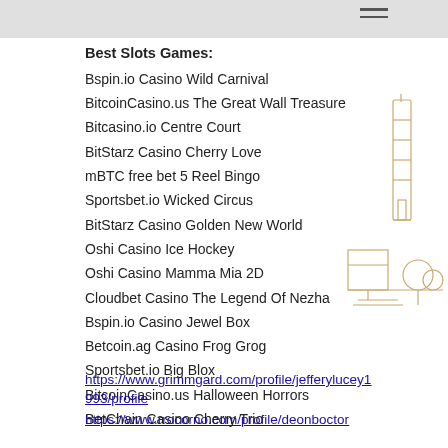≡
Best Slots Games:
Bspin.io Casino Wild Carnival
BitcoinCasino.us The Great Wall Treasure
Bitcasino.io Centre Court
BitStarz Casino Cherry Love
mBTC free bet 5 Reel Bingo
Sportsbet.io Wicked Circus
BitStarz Casino Golden New World
Oshi Casino Ice Hockey
Oshi Casino Mamma Mia 2D
Cloudbet Casino The Legend Of Nezha
Bspin.io Casino Jewel Box
Betcoin.ag Casino Frog Grog
Sportsbet.io Big Blox
BitcoinCasino.us Halloween Horrors
BetChain Casino Cherry Trio
https://www.grimmgard.com/profile/jefferylucey1993/profile
https://www.rrocorno.com/profile/deonboctor